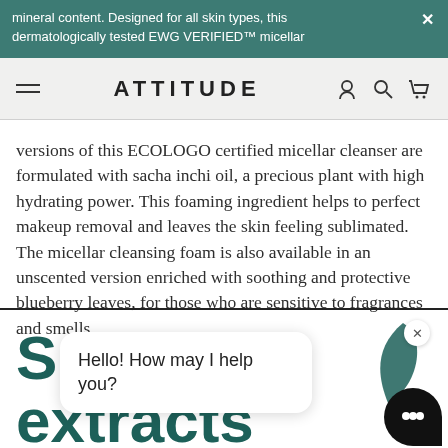mineral content. Designed for all skin types, this dermatologically tested EWG VERIFIED™ micellar
ATTITUDE
versions of this ECOLOGO certified micellar cleanser are formulated with sacha inchi oil, a precious plant with high hydrating power. This foaming ingredient helps to perfect makeup removal and leaves the skin feeling sublimated. The micellar cleansing foam is also available in an unscented version enriched with soothing and protective blueberry leaves, for those who are sensitive to fragrances and smells.
Supe
extracts
Hello! How may I help you?